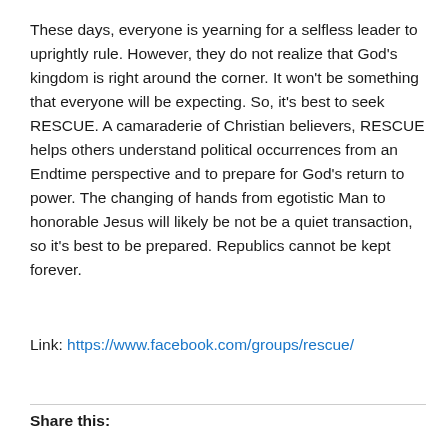These days, everyone is yearning for a selfless leader to uprightly rule. However, they do not realize that God's kingdom is right around the corner. It won't be something that everyone will be expecting. So, it's best to seek RESCUE. A camaraderie of Christian believers, RESCUE helps others understand political occurrences from an Endtime perspective and to prepare for God's return to power. The changing of hands from egotistic Man to honorable Jesus will likely be not be a quiet transaction, so it's best to be prepared. Republics cannot be kept forever.
Link: https://www.facebook.com/groups/rescue/
Share this: